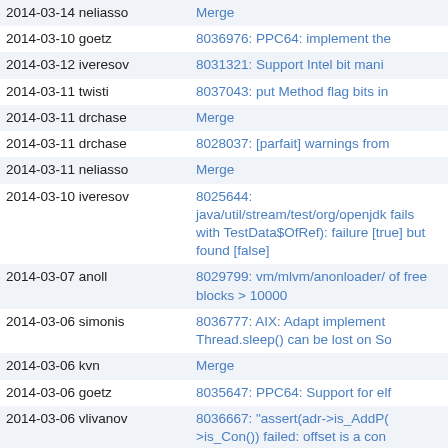| Date Author | Description |
| --- | --- |
| 2014-03-14 neliasso | Merge |
| 2014-03-10 goetz | 8036976: PPC64: implement the |
| 2014-03-12 iveresov | 8031321: Support Intel bit mani |
| 2014-03-11 twisti | 8037043: put Method flag bits in |
| 2014-03-11 drchase | Merge |
| 2014-03-11 drchase | 8028037: [parfait] warnings from |
| 2014-03-11 neliasso | Merge |
| 2014-03-10 iveresov | 8025644: java/util/stream/test/org/openjdk fails with TestData$OfRef): failure [true] but found [false] |
| 2014-03-07 anoll | 8029799: vm/mlvm/anonloader/ of free blocks > 10000 |
| 2014-03-06 simonis | 8036777: AIX: Adapt implement Thread.sleep() can be lost on So |
| 2014-03-06 kvn | Merge |
| 2014-03-06 goetz | 8035647: PPC64: Support for elf |
| 2014-03-06 vlivanov | 8036667: "assert(adr->is_AddP( >is_Con()) failed: offset is a con |
| 2014-03-06 roland | Merge |
| 2014-03-06 roland | 8032633: Enable type speculati |
| 2014-03-06 iignatyev | 8027124: [TESTBUG] NonTiered private TestCase$Helper(java.la |
| 2014-03-06 iignatyev | 8027257: [TESTBUG] compiler/c or load main class negative_test |
| 2014-03-06 iignatyev | 8028482: [TESTBUG] tests that group |
| 2014-03-06 kvn | 8035983: Fix "Native frames:" in |